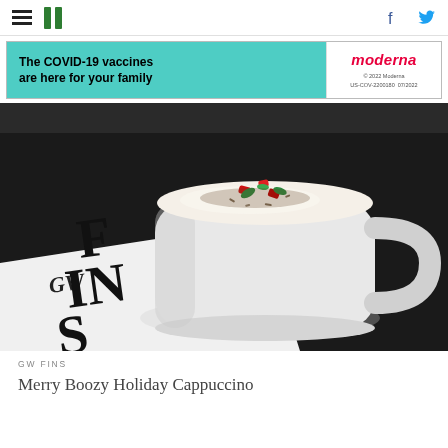HuffPost navigation with hamburger menu, logo, Facebook and Twitter icons
[Figure (infographic): Moderna COVID-19 vaccine advertisement banner: 'The COVID-19 vaccines are here for your family' on teal background, Moderna logo on white, copyright 2022 Moderna US-COV-2200180 07/2022]
[Figure (photo): Photograph of a white ceramic mug filled with a cappuccino topped with foam and decorated with red candied pieces and green mint leaves, dusted with dark cocoa powder. The mug sits on a white napkin or card showing partial text 'GW FINS' logo. Background is dark/black.]
GW FINS
Merry Boozy Holiday Cappuccino